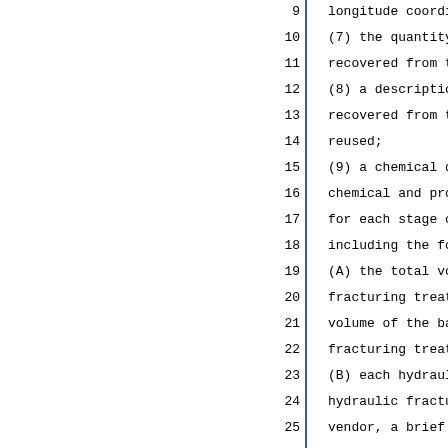9    longitude coordinates;
10       (7) the quantity of hyd
11   recovered from the well;
12       (8) a description of ho
13   recovered from the well was
14   reused;
15       (9) a chemical disclosu
16   chemical and proppant used
17   for each stage of the hydra
18   including the following:
19       (A) the total volum
20       fracturing treatment of
21       volume of the base flui
22       fracturing treatment, i
23       (B) each hydraulic
24       hydraulic fracturing fl
25       vendor, a brief descrip
26       function of each hydraul